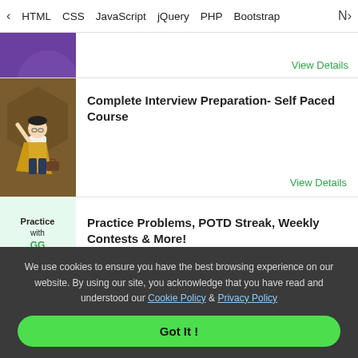< HTML  CSS  JavaScript  jQuery  PHP  Bootstrap  N>
[Figure (illustration): Purple background course card thumbnail, partially visible]
View Details
[Figure (illustration): Brown/olive background with illustrated character in superhero pose]
Complete Interview Preparation- Self Paced Course
View Details
[Figure (illustration): Light green background with 'Practice with GFG' text and student illustration]
Practice Problems, POTD Streak, Weekly Contests & More!
View Details
We use cookies to ensure you have the best browsing experience on our website. By using our site, you acknowledge that you have read and understood our Cookie Policy & Privacy Policy
Got It !